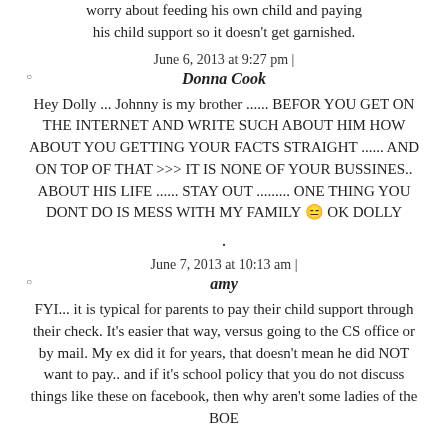worry about feeding his own child and paying his child support so it doesn't get garnished.
June 6, 2013 at 9:27 pm |
Donna Cook
Hey Dolly ... Johnny is my brother ...... BEFOR YOU GET ON THE INTERNET AND WRITE SUCH ABOUT HIM HOW ABOUT YOU GETTING YOUR FACTS STRAIGHT ...... AND ON TOP OF THAT >>> IT IS NONE OF YOUR BUSSINES.. ABOUT HIS LIFE ...... STAY OUT ......... ONE THING YOU DONT DO IS MESS WITH MY FAMILY 😑 OK DOLLY
.
June 7, 2013 at 10:13 am |
amy
FYI... it is typical for parents to pay their child support through their check. It's easier that way, versus going to the CS office or by mail. My ex did it for years, that doesn't mean he did NOT want to pay.. and if it's school policy that you do not discuss things like these on facebook, then why aren't some ladies of the BOE